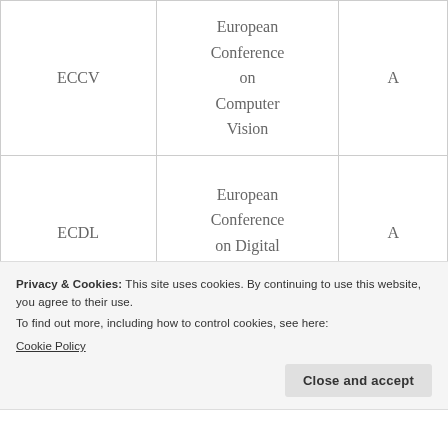| ECCV | European Conference on Computer Vision | A |
| ECDL | European Conference on Digital Libraries | A |
|  | Information |  |
Privacy & Cookies: This site uses cookies. By continuing to use this website, you agree to their use.
To find out more, including how to control cookies, see here:
Cookie Policy